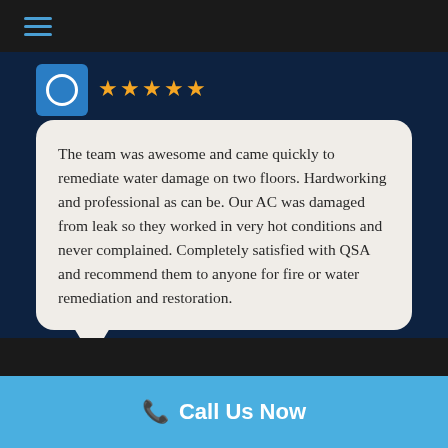Navigation menu (hamburger icon)
[Figure (illustration): Blue square avatar icon with white circle outline representing a user profile]
★★★★★ (5 stars)
The team was awesome and came quickly to remediate water damage on two floors. Hardworking and professional as can be. Our AC was damaged from leak so they worked in very hot conditions and never complained. Completely satisfied with QSA and recommend them to anyone for fire or water remediation and restoration.
📞 Call Us Now